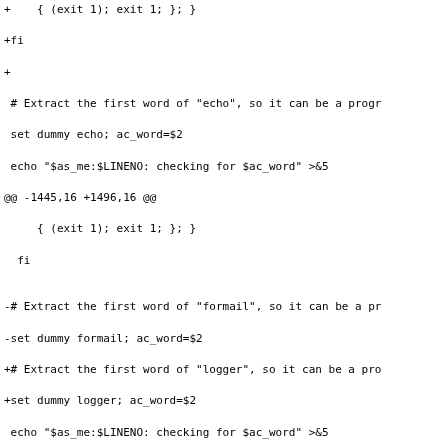Diff/patch code snippet showing changes to a configure script, replacing formail references with logger references.